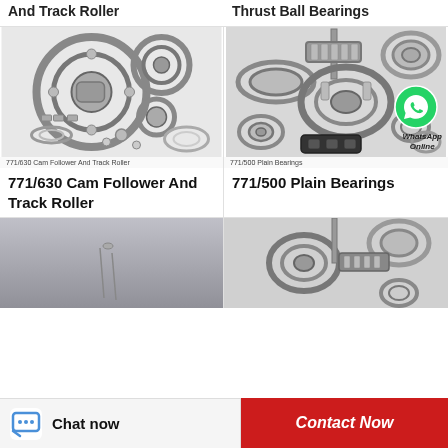And Track Roller
Thrust Ball Bearings
[Figure (photo): Multiple ball bearings of various sizes arranged together, cam follower and track roller parts]
771/630  Cam Follower And Track Roller
771/630  Cam Follower And Track Roller
[Figure (photo): Assorted plain bearings and mechanical bearing components with WhatsApp Online badge overlay]
771/500  Plain Bearings
771/500  Plain Bearings
[Figure (photo): Gray industrial or machinery background - partial view]
[Figure (photo): Assorted bearings and rollers, similar to plain bearings collection]
Chat now
Contact Now